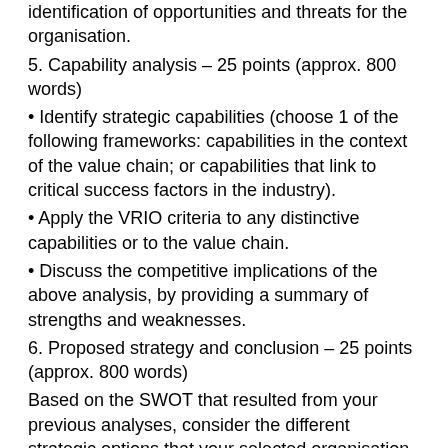identification of opportunities and threats for the organisation.
5. Capability analysis – 25 points (approx. 800 words)
• Identify strategic capabilities (choose 1 of the following frameworks: capabilities in the context of the value chain; or capabilities that link to critical success factors in the industry).
• Apply the VRIO criteria to any distinctive capabilities or to the value chain.
• Discuss the competitive implications of the above analysis, by providing a summary of strengths and weaknesses.
6. Proposed strategy and conclusion – 25 points (approx. 800 words)
Based on the SWOT that resulted from your previous analyses, consider the different strategic options that your selected organisation could adopt.